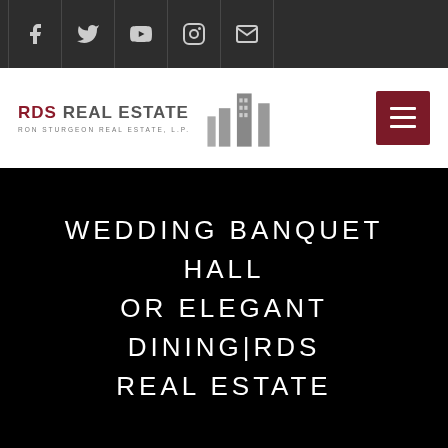Social media icons: Facebook, Twitter, YouTube, Instagram, Email
[Figure (logo): RDS Real Estate logo with building icon and tagline Ron Sturgeon Real Estate, L.P.]
WEDDING BANQUET HALL OR ELEGANT DINING|RDS REAL ESTATE